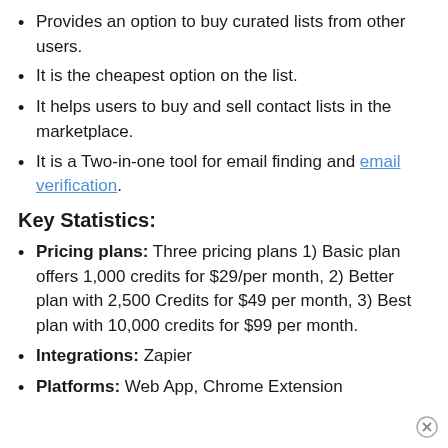Provides an option to buy curated lists from other users.
It is the cheapest option on the list.
It helps users to buy and sell contact lists in the marketplace.
It is a Two-in-one tool for email finding and email verification.
Key Statistics:
Pricing plans: Three pricing plans 1) Basic plan offers 1,000 credits for $29/per month, 2) Better plan with 2,500 Credits for $49 per month, 3) Best plan with 10,000 credits for $99 per month.
Integrations: Zapier
Platforms: Web App, Chrome Extension